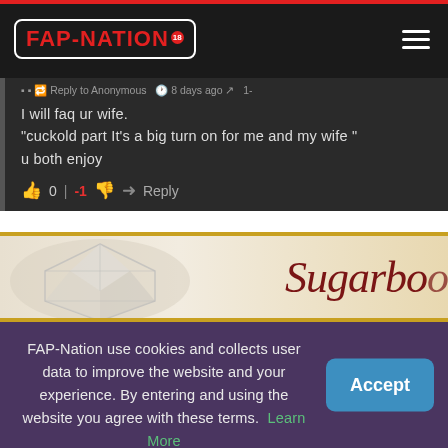FAP-NATION (18+) header with hamburger menu
I will faq ur wife.
"cuckold part It's a big turn on for me and my wife "
u both enjoy
0 | -1  Reply
[Figure (photo): Advertisement banner showing diamond/crystal image on left and 'Sugarboo' text in dark red serif italic font on right, with gold border]
FAP-Nation use cookies and collects user data to improve the website and your experience. By entering and using the website you agree with these terms. Learn More